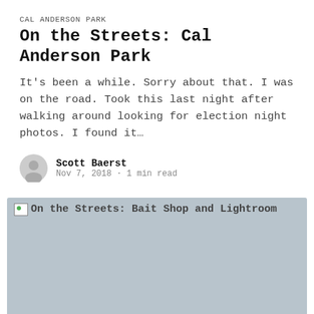CAL ANDERSON PARK
On the Streets: Cal Anderson Park
It’s been a while. Sorry about that. I was on the road. Took this last night after walking around looking for election night photos. I found it…
Scott Baerst
Nov 7, 2018 · 1 min read
[Figure (photo): Placeholder image block with alt text: On the Streets: Bait Shop and Lightroom. Image has a gray background indicating a broken/unloaded image.]